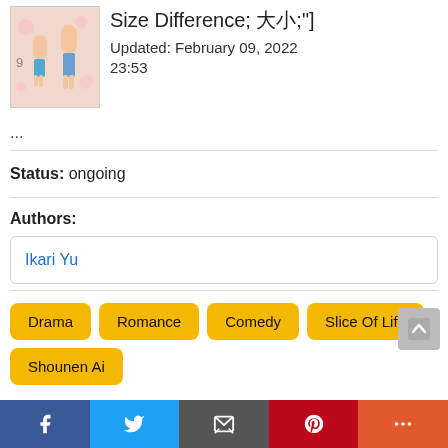[Figure (illustration): Manga cover art showing two characters with size difference, one taller with gray shorts and one shorter with blue shorts, on a pink background]
Size Difference; &#x5927;&#x5C0F;&#x5DEE;&#xFF1B;"]
Updated: February 09, 2022 23:53
...
Status: ongoing
Authors:
Ikari Yu
Drama
Romance
Comedy
Slice Of Life
Shounen Ai